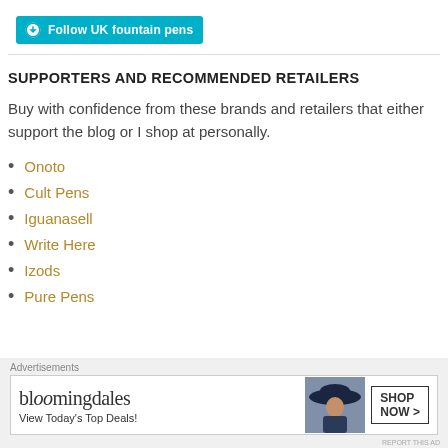[Figure (logo): WordPress Follow button: teal/cyan background with WordPress W icon and text 'Follow UK fountain pens']
SUPPORTERS AND RECOMMENDED RETAILERS
Buy with confidence from these brands and retailers that either support the blog or I shop at personally.
Onoto
Cult Pens
Iguanasell
Write Here
Izods
Pure Pens
Advertisements
[Figure (screenshot): Bloomingdales advertisement banner: logo text 'bloomingdales', tagline 'View Today's Top Deals!', image of woman in wide-brim hat, SHOP NOW > button]